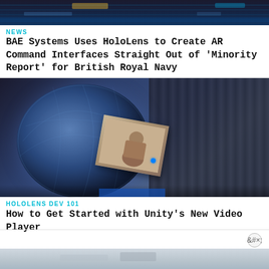[Figure (screenshot): Dark HUD/AR command interface screenshot showing blue interface elements on dark background]
NEWS
BAE Systems Uses HoloLens to Create AR Command Interfaces Straight Out of 'Minority Report' for British Royal Navy
[Figure (photo): AR holographic globe with a person reflected in a floating photo card, dark blue curtain background]
HOLOLENS DEV 101
How to Get Started with Unity's New Video Player
[Figure (screenshot): Partially visible image at bottom of page, light blue/grey tones]